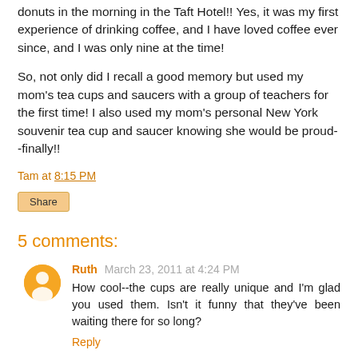donuts in the morning in the Taft Hotel!! Yes, it was my first experience of drinking coffee, and I have loved coffee ever since, and I was only nine at the time!
So, not only did I recall a good memory but used my mom's tea cups and saucers with a group of teachers for the first time! I also used my mom's personal New York souvenir tea cup and saucer knowing she would be proud--finally!!
Tam at 8:15 PM
Share
5 comments:
Ruth March 23, 2011 at 4:24 PM
How cool--the cups are really unique and I'm glad you used them. Isn't it funny that they've been waiting there for so long?
Reply